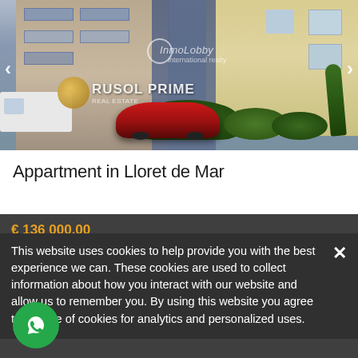[Figure (photo): Exterior photo of an apartment building in Lloret de Mar with a red car parked outside, green bushes, and a white van. Shows a multi-story building with balconies. Watermark text 'InmoLobby international realty' and 'RUSOL PRIME' logo visible. Navigation arrows on left and right.]
Appartment in Lloret de Mar
€ 136 000.00
This website uses cookies to help provide you with the best experience we can. These cookies are used to collect information about how you interact with our website and allow us to remember you. By using this website you agree to the use of cookies for analytics and personalized uses.